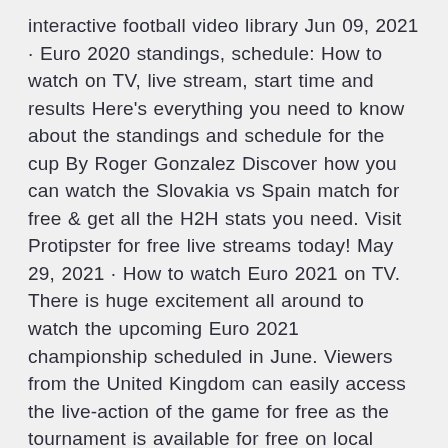interactive football video library Jun 09, 2021 · Euro 2020 standings, schedule: How to watch on TV, live stream, start time and results Here's everything you need to know about the standings and schedule for the cup By Roger Gonzalez Discover how you can watch the Slovakia vs Spain match for free & get all the H2H stats you need. Visit Protipster for free live streams today! May 29, 2021 · How to watch Euro 2021 on TV. There is huge excitement all around to watch the upcoming Euro 2021 championship scheduled in June. Viewers from the United Kingdom can easily access the live-action of the game for free as the tournament is available for free on local Television channel ITV and the BBC. · Euro Cup 2021 Live Streaming Reddit Channels.